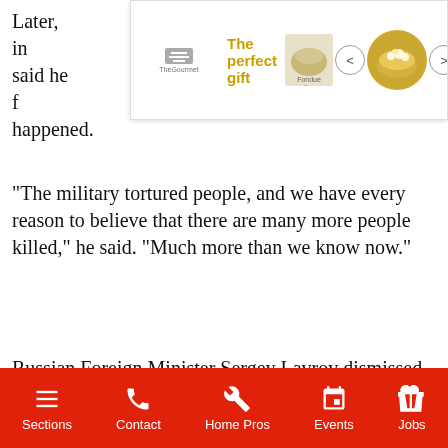Later, in… nskyy said he f… have happened.
[Figure (screenshot): Advertisement banner: 'The perfect gift' with product image, navigation arrows, bowl image, 35% off and FREE SHIPPING badge, close button]
“The military tortured people, and we have every reason to believe that there are many more people killed,” he said. “Much more than we know now.”
Russian Foreign Minister Sergey Lavrov dismissed the scenes … ussian provocation.” … id the images contained …”
[Figure (screenshot): Video overlay popup: 'California to phase out sales of gas-po...' with aerial photo of shopping center parking lot, mute button, close button]
…egations of atrocities as …east 410 civilians have
Sections   Contact   Home Pros   Events   Jobs